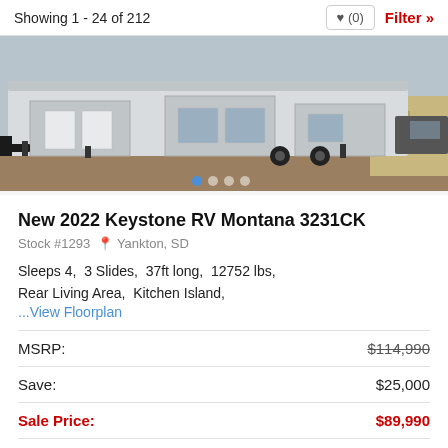Showing 1 - 24 of 212
[Figure (photo): Photo of a 2022 Keystone RV Montana 3231CK fifth-wheel trailer parked outdoors, showing the side profile with slides extended, hitch area and jacks visible]
New 2022 Keystone RV Montana 3231CK
Stock #1293  Yankton, SD
Sleeps 4,  3 Slides,  37ft long,  12752 lbs,  Rear Living Area,  Kitchen Island,
...View Floorplan
|  |  |
| --- | --- |
| MSRP: | $114,990 |
| Save: | $25,000 |
| Sale Price: | $89,990 |
Payments From: $713 /mo.